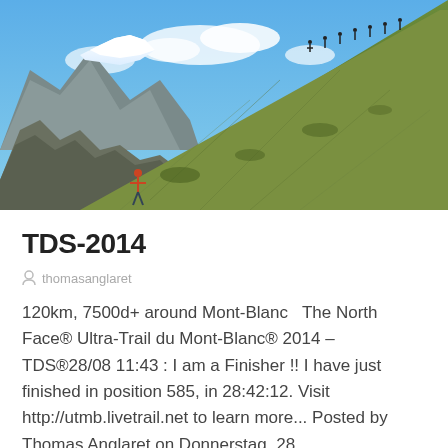[Figure (photo): Mountain trail running scene with snow-capped Mont-Blanc peaks in background, green grassy slopes, runners visible on the hillside and ridge line, blue sky with clouds]
TDS-2014
thomasanglaret
120km, 7500d+ around Mont-Blanc  The North Face® Ultra-Trail du Mont-Blanc® 2014 – TDS®28/08 11:43 : I am a Finisher !! I have just finished in position 585, in 28:42:12. Visit http://utmb.livetrail.net to learn more... Posted by Thomas Anglaret on Donnerstag, 28